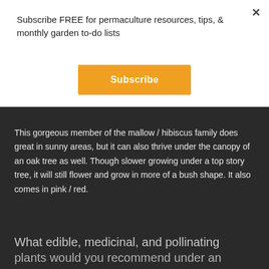Subscribe FREE for permaculture resources, tips, & monthly garden to-do lists
Subscribe
This gorgeous member of the mallow / hibiscus family does great in sunny areas, but it can also thrive under the canopy of an oak tree as well. Though slower growing under a top story tree, it will still flower and grow in more of a bush shape. It also comes in pink / red.
What edible, medicinal, and pollinating plants would you recommend under an